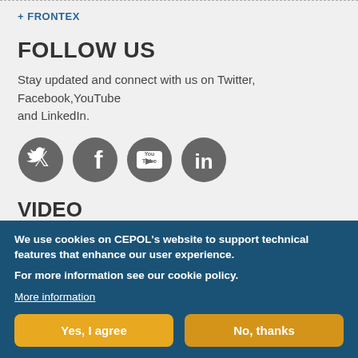+ FRONTEX
FOLLOW US
Stay updated and connect with us on Twitter, Facebook,YouTube and LinkedIn.
[Figure (illustration): Four circular social media icons: Twitter, Facebook, YouTube, LinkedIn]
VIDEO
[Figure (screenshot): Video thumbnail, dark background with partial white circle (play button area)]
We use cookies on CEPOL’s website to support technical features that enhance our user experience. For more information see our cookie policy.
More information
Yes, I agree
No, thanks